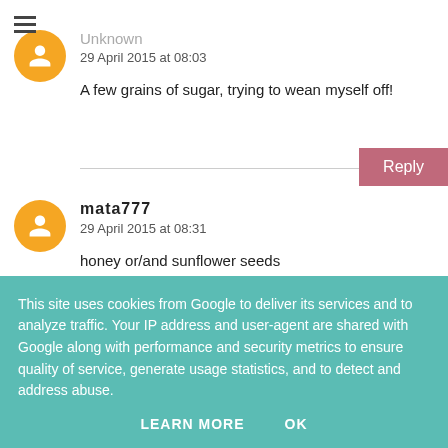Unknown
29 April 2015 at 08:03
A few grains of sugar, trying to wean myself off!
mata777
29 April 2015 at 08:31
honey or/and sunflower seeds
This site uses cookies from Google to deliver its services and to analyze traffic. Your IP address and user-agent are shared with Google along with performance and security metrics to ensure quality of service, generate usage statistics, and to detect and address abuse.
LEARN MORE
OK